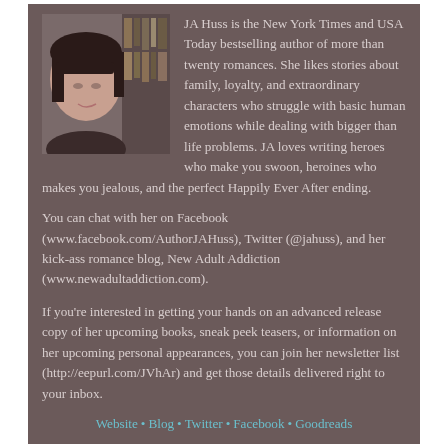[Figure (photo): Headshot photo of JA Huss, a woman with dark hair and bangs, against a background of bookshelves]
JA Huss is the New York Times and USA Today bestselling author of more than twenty romances. She likes stories about family, loyalty, and extraordinary characters who struggle with basic human emotions while dealing with bigger than life problems. JA loves writing heroes who make you swoon, heroines who makes you jealous, and the perfect Happily Ever After ending.
You can chat with her on Facebook (www.facebook.com/AuthorJAHuss), Twitter (@jahuss), and her kick-ass romance blog, New Adult Addiction (www.newadultaddiction.com).
If you're interested in getting your hands on an advanced release copy of her upcoming books, sneak peek teasers, or information on her upcoming personal appearances, you can join her newsletter list (http://eepurl.com/JVhAr) and get those details delivered right to your inbox.
Website • Blog • Twitter • Facebook • Goodreads